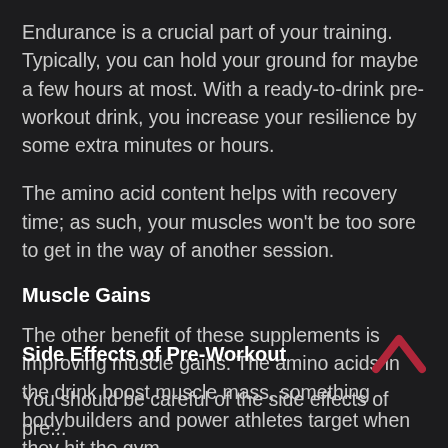Endurance is a crucial part of your training. Typically, you can hold your ground for maybe a few hours at most. With a ready-to-drink pre-workout drink, you increase your resilience by some extra minutes or hours.
The amino acid content helps with recovery time; as such, your muscles won't be too sore to get in the way of another session.
Muscle Gains
The other benefit of these supplements is improving muscle gains. The amino acids in the drink boost muscle mass, something bodybuilders and power athletes target when they hit the gym.
Side Effects of Pre-Workout
You should be careful of the side effects of pre...